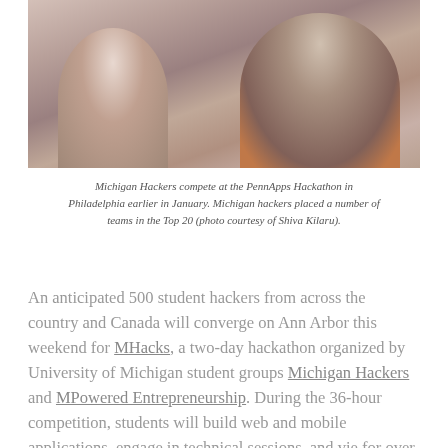[Figure (photo): Two students working at computers at the PennApps Hackathon. A woman with headphones is visible on the left, and a man wearing glasses and an orange shirt is prominent on the right.]
Michigan Hackers compete at the PennApps Hackathon in Philadelphia earlier in January. Michigan hackers placed a number of teams in the Top 20 (photo courtesy of Shiva Kilaru).
An anticipated 500 student hackers from across the country and Canada will converge on Ann Arbor this weekend for MHacks, a two-day hackathon organized by University of Michigan student groups Michigan Hackers and MPowered Entrepreneurship. During the 36-hour competition, students will build web and mobile applications, engage in technical sessions, and vie for over